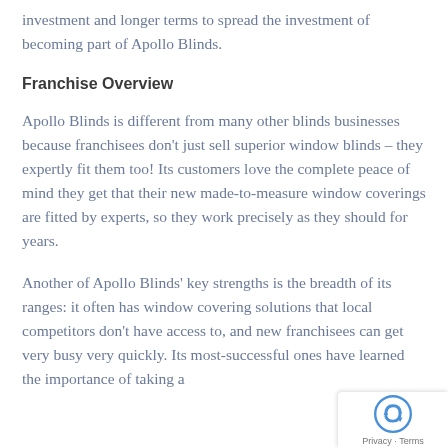investment and longer terms to spread the investment of becoming part of Apollo Blinds.
Franchise Overview
Apollo Blinds is different from many other blinds businesses because franchisees don't just sell superior window blinds – they expertly fit them too! Its customers love the complete peace of mind they get that their new made-to-measure window coverings are fitted by experts, so they work precisely as they should for years.
Another of Apollo Blinds' key strengths is the breadth of its ranges: it often has window covering solutions that local competitors don't have access to, and new franchisees can get very busy very quickly. Its most-successful ones have learned the importance of taking a